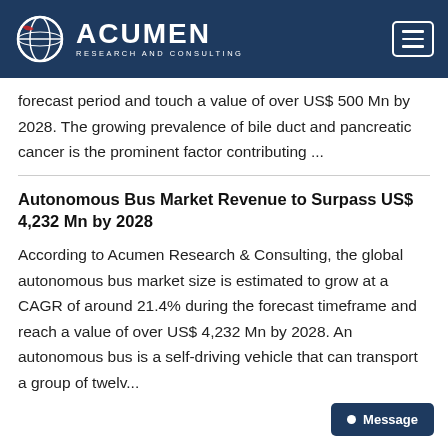Acumen Research and Consulting
forecast period and touch a value of over US$ 500 Mn by 2028. The growing prevalence of bile duct and pancreatic cancer is the prominent factor contributing ...
Autonomous Bus Market Revenue to Surpass US$ 4,232 Mn by 2028
According to Acumen Research & Consulting, the global autonomous bus market size is estimated to grow at a CAGR of around 21.4% during the forecast timeframe and reach a value of over US$ 4,232 Mn by 2028. An autonomous bus is a self-driving vehicle that can transport a group of twelv...